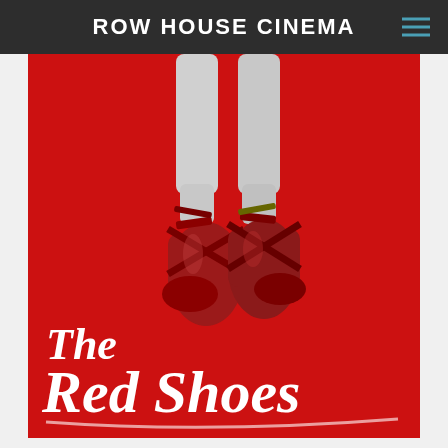ROW HOUSE CINEMA
[Figure (illustration): Movie poster for 'The Red Shoes' showing ballet dancer legs in red pointe shoes against a red background, with white italic script text reading 'The Red Shoes' at the bottom.]